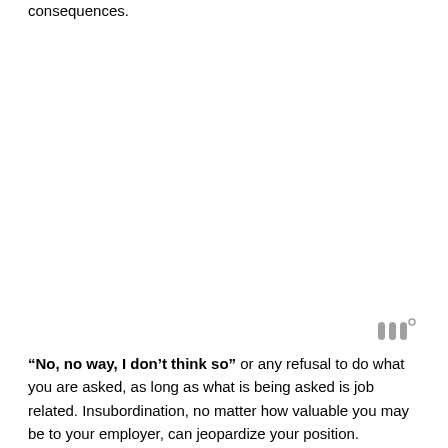consequences.
[Figure (logo): Small grey logo mark consisting of stylized letter W with superscript circle]
“No, no way, I don’t think so” or any refusal to do what you are asked, as long as what is being asked is job related. Insubordination, no matter how valuable you may be to your employer, can jeopardize your position.